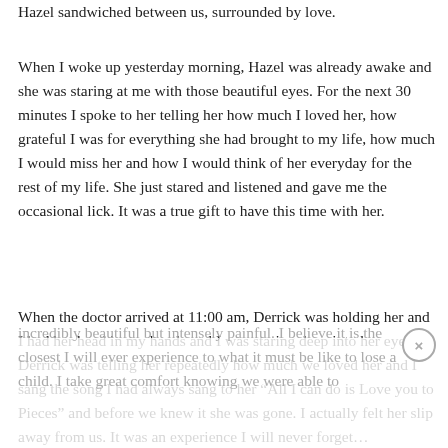Hazel sandwiched between us, surrounded by love.
When I woke up yesterday morning, Hazel was already awake and she was staring at me with those beautiful eyes. For the next 30 minutes I spoke to her telling her how much I loved her, how grateful I was for everything she had brought to my life, how much I would miss her and how I would think of her everyday for the rest of my life. She just stared and listened and gave me the occasional lick. It was a true gift to have this time with her.
When the doctor arrived at 11:00 am, Derrick was holding her and I had her head in my hands and I was staring deep into her eyes. Derrick was telling her repeatedly how much we loved her and I sang the song I had always sang to her "All I can do is Love you to Pieces" and before we knew it she was gone. I actually felt her slip away from us. It was an experience I will never forget... incredibly beautiful but intensely painful. I believe it is the closest I will ever experience to what it must be like to lose a child. I take great comfort knowing we were able to